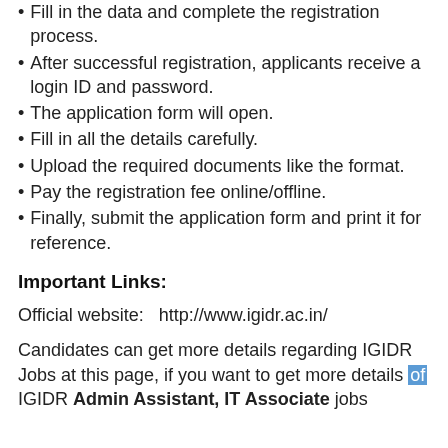Fill in the data and complete the registration process.
After successful registration, applicants receive a login ID and password.
The application form will open.
Fill in all the details carefully.
Upload the required documents like the format.
Pay the registration fee online/offline.
Finally, submit the application form and print it for reference.
Important Links:
Official website:   http://www.igidr.ac.in/
Candidates can get more details regarding IGIDR Jobs at this page, if you want to get more details of IGIDR Admin Assistant, IT Associate jobs